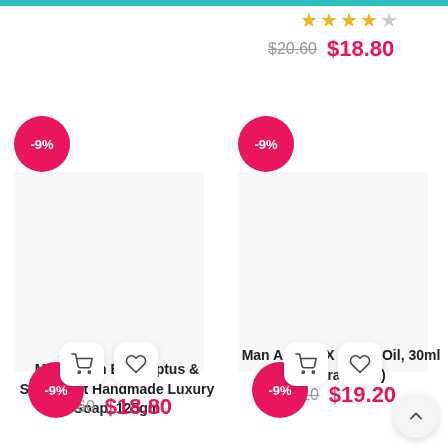[Figure (other): Star rating (4.5 stars) shown at top right of page]
$20.60  $18.80
[Figure (other): Product card: Man Arden Eucalyptus & Spearmint Handmade Luxury Soap, 125gm with -9% badge, cart and wishlist icons, price $20.60 / $18.80]
[Figure (other): Product card: Man Arden 7X Beard Oil, 30ml (Hydra Sport) with -9% badge, cart and wishlist icons, price $21.10 / $19.20]
Man Arden Eucalyptus & Spearmint Handmade Luxury Soap, 125gm
$20.60  $18.80
Man Arden 7X Beard Oil, 30ml (Hydra Sport)
$21.10  $19.20
[Figure (other): -9% discount badge bottom left]
[Figure (other): -9% discount badge bottom right]
[Figure (other): Scroll to top arrow button]